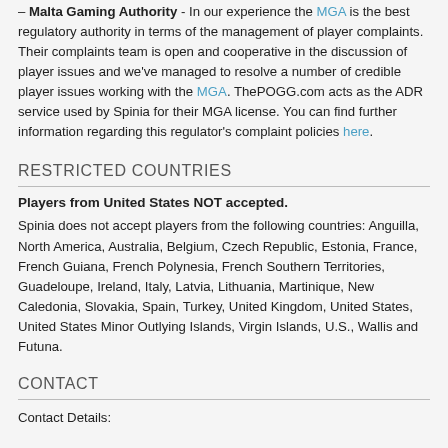– Malta Gaming Authority - In our experience the MGA is the best regulatory authority in terms of the management of player complaints. Their complaints team is open and cooperative in the discussion of player issues and we've managed to resolve a number of credible player issues working with the MGA. ThePOGG.com acts as the ADR service used by Spinia for their MGA license. You can find further information regarding this regulator's complaint policies here.
RESTRICTED COUNTRIES
Players from United States NOT accepted.
Spinia does not accept players from the following countries: Anguilla, North America, Australia, Belgium, Czech Republic, Estonia, France, French Guiana, French Polynesia, French Southern Territories, Guadeloupe, Ireland, Italy, Latvia, Lithuania, Martinique, New Caledonia, Slovakia, Spain, Turkey, United Kingdom, United States, United States Minor Outlying Islands, Virgin Islands, U.S., Wallis and Futuna.
CONTACT
Contact Details: